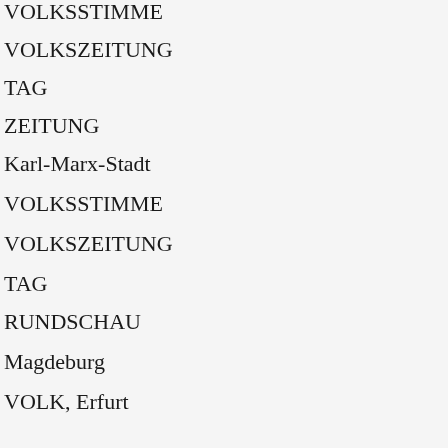VOLKSSTIMME
VOLKSZEITUNG
TAG
ZEITUNG
Karl-Marx-Stadt
VOLKSSTIMME
VOLKSZEITUNG
TAG
RUNDSCHAU
Magdeburg
VOLK, Erfurt